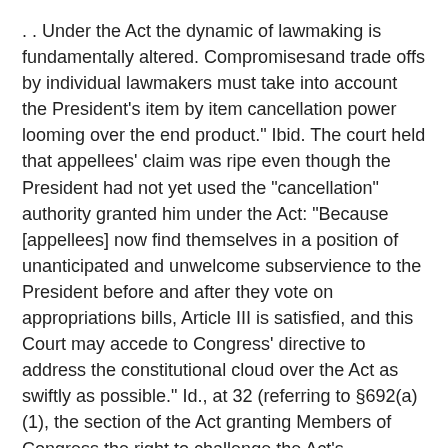. . Under the Act the dynamic of lawmaking is fundamentally altered. Compromisesand trade offs by individual lawmakers must take into account the President's item by item cancellation power looming over the end product." Ibid. The court held that appellees' claim was ripe even though the President had not yet used the "cancellation" authority granted him under the Act: "Because [appellees] now find themselves in a position of unanticipated and unwelcome subservience to the President before and after they vote on appropriations bills, Article III is satisfied, and this Court may accede to Congress' directive to address the constitutional cloud over the Act as swiftly as possible." Id., at 32 (referring to §692(a)(1), the section of the Act granting Members of Congress the right to challenge the Act's constitutionality in court). On the merits, the court held that the Act violated the Presentment Clause, Art. I, §7, cl. 2, and constituted an unconstitutional delegation of legislative power to the President. 956 F. Supp., at 33, 35, 37-38.